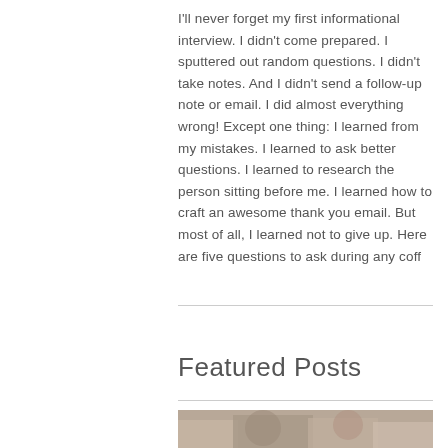I'll never forget my first informational interview. I didn't come prepared. I sputtered out random questions. I didn't take notes. And I didn't send a follow-up note or email. I did almost everything wrong! Except one thing: I learned from my mistakes. I learned to ask better questions. I learned to research the person sitting before me. I learned how to craft an awesome thank you email. But most of all, I learned not to give up. Here are five questions to ask during any coff
Featured Posts
[Figure (photo): Partial photo at bottom of page showing people, cropped]